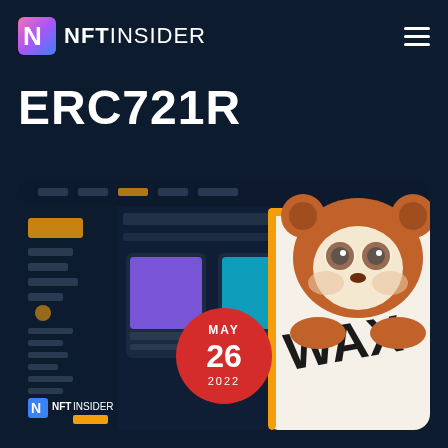NFT INSIDER
ERC721R
[Figure (screenshot): Screenshot of an NFT marketplace website blurred in the background with a cartoon red panda character leaning on a WAX branded document/pad, with NFT Insider logo in the bottom-left and a red circular date badge showing MAY 26 2022]
MAY 26 2022